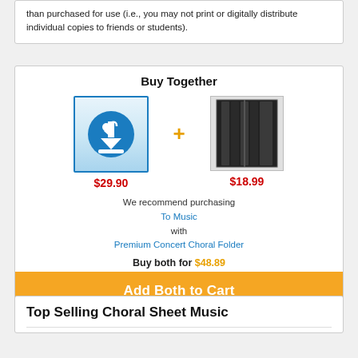than purchased for use (i.e., you may not print or digitally distribute individual copies to friends or students).
Buy Together
[Figure (illustration): Download icon: blue circle with downward arrow and music note, in a blue-bordered white/blue gradient box. Price: $29.90 in red.]
[Figure (photo): Premium Concert Choral Folder product image, dark/black folder. Price: $18.99 in red.]
We recommend purchasing To Music with Premium Concert Choral Folder
Buy both for $48.89
Add Both to Cart
Top Selling Choral Sheet Music